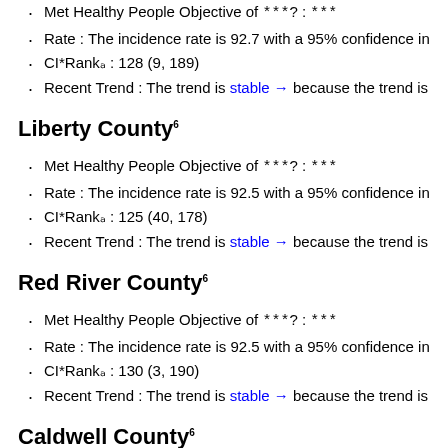Met Healthy People Objective of ***?: ***
Rate : The incidence rate is 92.7 with a 95% confidence in
CI*Rank⋕ : 128 (9, 189)
Recent Trend : The trend is stable → because the trend is
Liberty County⁶
Met Healthy People Objective of ***?: ***
Rate : The incidence rate is 92.5 with a 95% confidence in
CI*Rank⋕ : 125 (40, 178)
Recent Trend : The trend is stable → because the trend is
Red River County⁶
Met Healthy People Objective of ***?: ***
Rate : The incidence rate is 92.5 with a 95% confidence in
CI*Rank⋕ : 130 (3, 190)
Recent Trend : The trend is stable → because the trend is
Caldwell County⁶